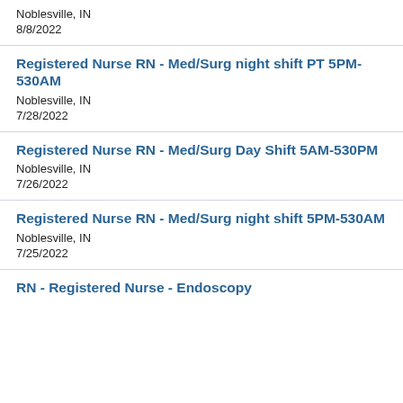Noblesville, IN
8/8/2022
Registered Nurse RN - Med/Surg night shift PT 5PM-530AM
Noblesville, IN
7/28/2022
Registered Nurse RN - Med/Surg Day Shift 5AM-530PM
Noblesville, IN
7/26/2022
Registered Nurse RN - Med/Surg night shift 5PM-530AM
Noblesville, IN
7/25/2022
RN - Registered Nurse - Endoscopy